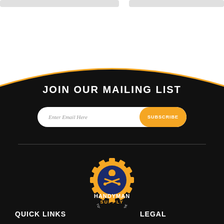[Figure (screenshot): Gray bars at top representing product cards or navigation elements on white background]
JOIN OUR MAILING LIST
Enter Email Here  SUBSCRIBE
[Figure (logo): Handyman Supply logo — orange gear with blue handyman figure holding crossed wrench and hammer, text 'HANDYMAN SUPPLY TOOLS FOR THE TRADE']
QUICK LINKS
LEGAL